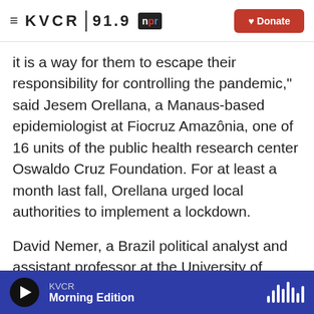≡ KVCR 91.9 npr Donate
it is a way for them to escape their responsibility for controlling the pandemic," said Jesem Orellana, a Manaus-based epidemiologist at Fiocruz Amazônia, one of 16 units of the public health research center Oswaldo Cruz Foundation. For at least a month last fall, Orellana urged local authorities to implement a lockdown.
David Nemer, a Brazil political analyst and assistant professor at the University of Virginia, agrees. "Bolsonaro is doubling down on his bet on early treatment to give people a sense of security to keep going to work," said Nemer, adding that
KVCR Morning Edition